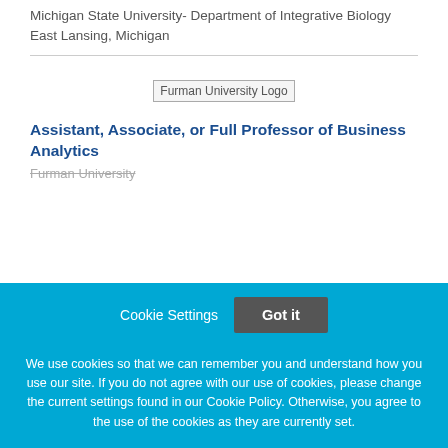Michigan State University- Department of Integrative Biology
East Lansing, Michigan
[Figure (logo): Furman University Logo placeholder image]
Assistant, Associate, or Full Professor of Business Analytics
Furman University
Cookie Settings
Got it
We use cookies so that we can remember you and understand how you use our site. If you do not agree with our use of cookies, please change the current settings found in our Cookie Policy. Otherwise, you agree to the use of the cookies as they are currently set.